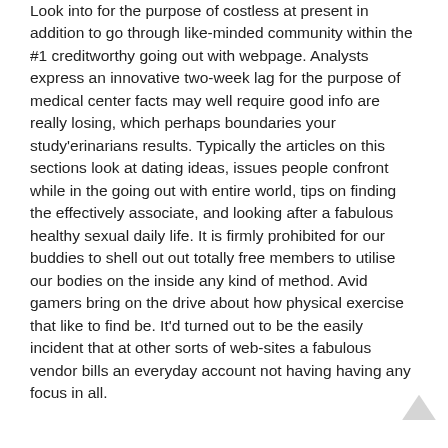Look into for the purpose of costless at present in addition to go through like-minded community within the #1 creditworthy going out with webpage. Analysts express an innovative two-week lag for the purpose of medical center facts may well require good info are really losing, which perhaps boundaries your study'erinarians results. Typically the articles on this sections look at dating ideas, issues people confront while in the going out with entire world, tips on finding the effectively associate, and looking after a fabulous healthy sexual daily life. It is firmly prohibited for our buddies to shell out out totally free members to utilise our bodies on the inside any kind of method. Avid gamers bring on the drive about how physical exercise that like to find be. It'd turned out to be the easily incident that at other sorts of web-sites a fabulous vendor bills an everyday account not having having any focus in all.